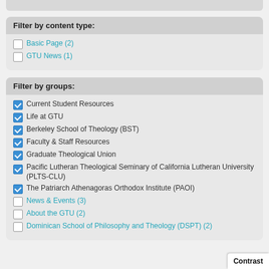Filter by content type:
Basic Page (2)
GTU News (1)
Filter by groups:
Current Student Resources
Life at GTU
Berkeley School of Theology (BST)
Faculty & Staff Resources
Graduate Theological Union
Pacific Lutheran Theological Seminary of California Lutheran University (PLTS-CLU)
The Patriarch Athenagoras Orthodox Institute (PAOI)
News & Events (3)
About the GTU (2)
Dominican School of Philosophy and Theology (DSPT) (2)
Contrast